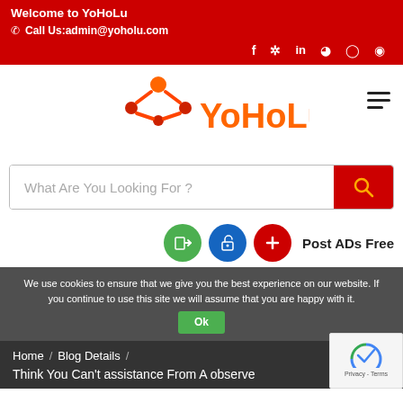Welcome to YoHoLu
Call Us:admin@yoholu.com
[Figure (logo): YoHoLu logo with orange figure icon and orange text]
What Are You Looking For ?
Post ADs Free
We use cookies to ensure that we give you the best experience on our website. If you continue to use this site we will assume that you are happy with it.
Home / Blog Details /
Think You Can't assistance From A observe